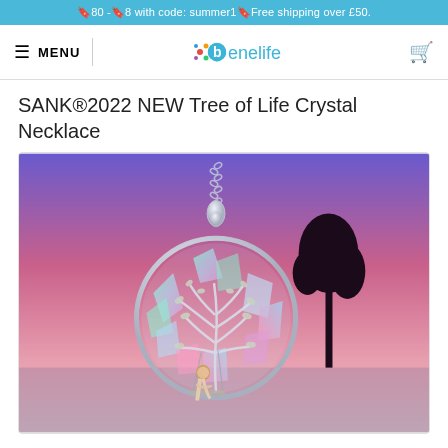🔖80 -🔖8 with code: summer1🔖Free shipping over £50.
[Figure (logo): Benelife logo with colorful dot and blue text]
SANK®2022 NEW Tree of Life Crystal Necklace
[Figure (photo): Tree of Life crystal necklace pendant with colorful crystals, silver branches with leaves, a girl on a swing, hanging on a chain against a purple/pink sunset sky with a silhouetted tree]